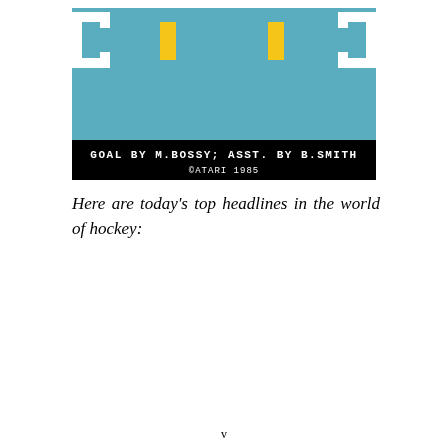[Figure (screenshot): Atari 1985 hockey video game screenshot showing a teal ice rink with white goal outlines on left and right sides, two yellow rectangular player sprites, black background, text reading 'GOAL BY M.BOSSY; ASST. BY B.SMITH' and '©ATARI 1985' at the bottom in pixel font.]
Here are today's top headlines in the world of hockey:
v